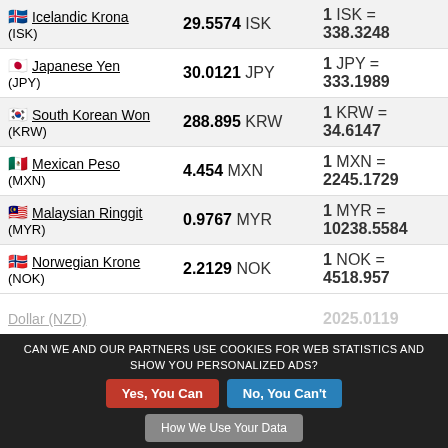| Currency | Amount | Rate |
| --- | --- | --- |
| 🇮🇸 Icelandic Krona (ISK) | 29.5574 ISK | 1 ISK = 338.3248 |
| 🇯🇵 Japanese Yen (JPY) | 30.0121 JPY | 1 JPY = 333.1989 |
| 🇰🇷 South Korean Won (KRW) | 288.895 KRW | 1 KRW = 34.6147 |
| 🇲🇽 Mexican Peso (MXN) | 4.454 MXN | 1 MXN = 2245.1729 |
| 🇲🇾 Malaysian Ringgit (MYR) | 0.9767 MYR | 1 MYR = 10238.5584 |
| 🇳🇴 Norwegian Krone (NOK) | 2.2129 NOK | 1 NOK = 4518.957 |
| New Zealand Dollar (NZD) | ... | ... |
CAN WE AND OUR PARTNERS USE COOKIES FOR WEB STATISTICS AND SHOW YOU PERSONALIZED ADS? Yes, You Can | No, You Can't | How We Use Your Data